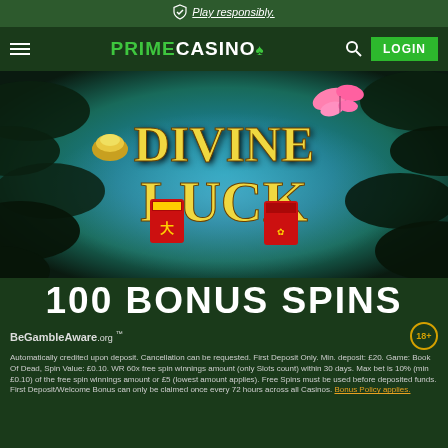Play responsibly.
[Figure (screenshot): Prime Casino navigation bar with hamburger menu, Prime Casino logo in green and white, search icon and LOGIN button]
[Figure (illustration): Divine Luck slot game promotional image with mystical forest background, blue/teal glowing lights, decorative leaves, a golden ingot, pink butterfly, red lucky envelopes, and stylized gold text reading Divine Luck]
100 BONUS SPINS
BeGambleAware.org
Automatically credited upon deposit. Cancellation can be requested. First Deposit Only. Min. deposit: £20. Game: Book Of Dead, Spin Value: £0.10. WR 60x free spin winnings amount (only Slots count) within 30 days. Max bet is 10% (min £0.10) of the free spin winnings amount or £5 (lowest amount applies). Free Spins must be used before deposited funds. First Deposit/Welcome Bonus can only be claimed once every 72 hours across all Casinos. Bonus Policy applies.